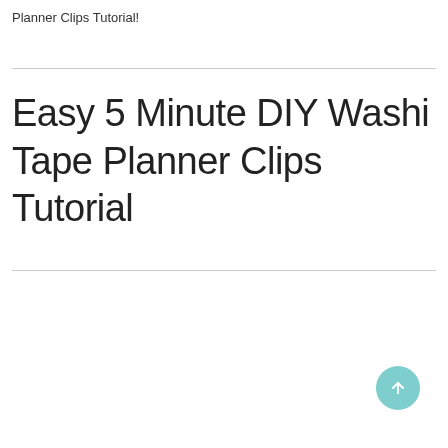Planner Clips Tutorial!
Easy 5 Minute DIY Washi Tape Planner Clips Tutorial
[Figure (other): Teal circular scroll-to-top button with upward arrow icon]